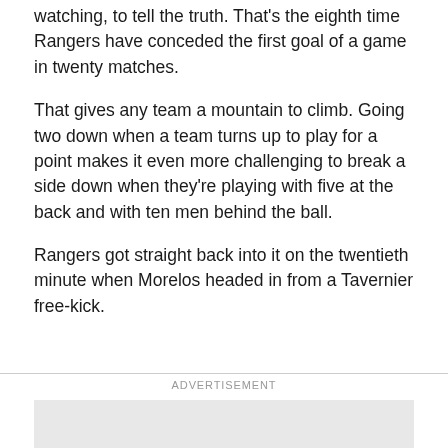watching, to tell the truth. That's the eighth time Rangers have conceded the first goal of a game in twenty matches.
That gives any team a mountain to climb. Going two down when a team turns up to play for a point makes it even more challenging to break a side down when they're playing with five at the back and with ten men behind the ball.
Rangers got straight back into it on the twentieth minute when Morelos headed in from a Tavernier free-kick.
ADVERTISEMENT